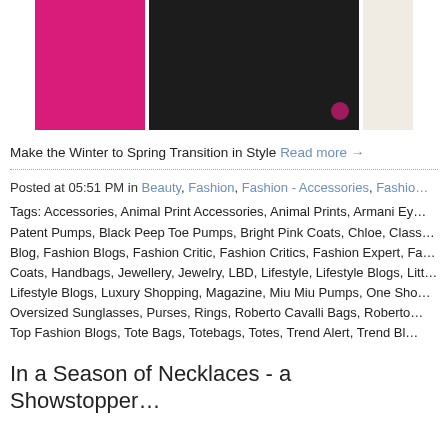[Figure (photo): Partial photo showing a pink coat/bag and black bag against a white background, cropped at top]
Make the Winter to Spring Transition in Style Read more →
Posted at 05:51 PM in Beauty, Fashion, Fashion - Accessories, Fashion...
Tags: Accessories, Animal Print Accessories, Animal Prints, Armani Ey... Patent Pumps, Black Peep Toe Pumps, Bright Pink Coats, Chloe, Class... Blog, Fashion Blogs, Fashion Critic, Fashion Critics, Fashion Expert, Fa... Coats, Handbags, Jewellery, Jewelry, LBD, Lifestyle, Lifestyle Blogs, Lit... Lifestyle Blogs, Luxury Shopping, Magazine, Miu Miu Pumps, One Sh... Oversized Sunglasses, Purses, Rings, Roberto Cavalli Bags, Roberto... Top Fashion Blogs, Tote Bags, Totebags, Totes, Trend Alert, Trend Bl...
In a Season of Necklaces - a Showstopper...